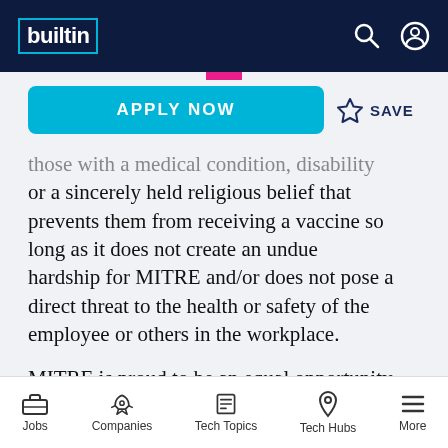builtin [logo] | search icon | user icon
APPLY NOW
SAVE
those with a medical condition, disability or a sincerely held religious belief that prevents them from receiving a vaccine so long as it does not create an undue hardship for MITRE and/or does not pose a direct threat to the health or safety of the employee or others in the workplace.

MITRE is proud to be an equal opportunity employer. MITRE recruits, employs, trains, compensates, and promotes regardless of
Jobs | Companies | Tech Topics | Tech Hubs | More